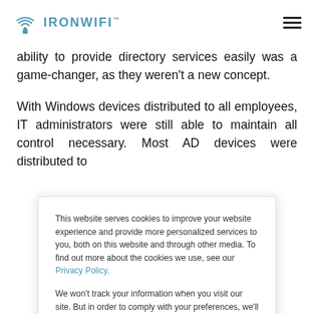IronWifi
ability to provide directory services easily was a game-changer, as they weren't a new concept.
With Windows devices distributed to all employees, IT administrators were still able to maintain all control necessary. Most AD devices were distributed to
This website serves cookies to improve your website experience and provide more personalized services to you, both on this website and through other media. To find out more about the cookies we use, see our Privacy Policy.

We won't track your information when you visit our site. But in order to comply with your preferences, we'll have to use just one tiny cookie so that you're not asked to make this choice again.